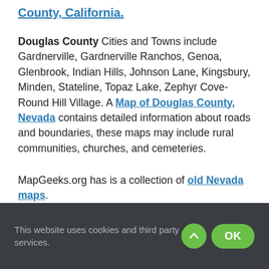County, California.
Douglas County Cities and Towns include Gardnerville, Gardnerville Ranchos, Genoa, Glenbrook, Indian Hills, Johnson Lane, Kingsbury, Minden, Stateline, Topaz Lake, Zephyr Cove-Round Hill Village. A Map of Douglas County, Nevada contains detailed information about roads and boundaries, these maps may include rural communities, churches, and cemeteries.
MapGeeks.org has is a collection of old Nevada maps.
This website uses cookies and third party services.